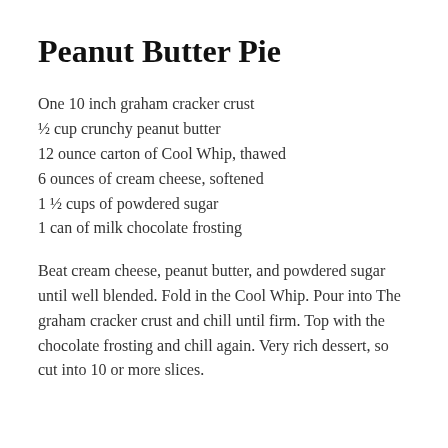Peanut Butter Pie
One 10 inch graham cracker crust
½ cup crunchy peanut butter
12 ounce carton of Cool Whip, thawed
6 ounces of cream cheese, softened
1 ½ cups of powdered sugar
1 can of milk chocolate frosting
Beat cream cheese, peanut butter, and powdered sugar until well blended. Fold in the Cool Whip. Pour into The graham cracker crust and chill until firm. Top with the chocolate frosting and chill again. Very rich dessert, so cut into 10 or more slices.